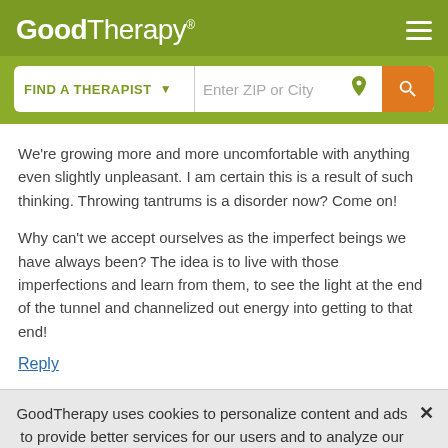GoodTherapy®
[Figure (screenshot): GoodTherapy website header with logo and hamburger menu icon on olive/green background, with search bar showing 'FIND A THERAPIST' dropdown and 'Enter ZIP or City' input with location icon and orange search button]
We're growing more and more uncomfortable with anything even slightly unpleasant. I am certain this is a result of such thinking. Throwing tantrums is a disorder now? Come on!
Why can't we accept ourselves as the imperfect beings we have always been? The idea is to live with those imperfections and learn from them, to see the light at the end of the tunnel and channelized out energy into getting to that end!
Reply
GoodTherapy uses cookies to personalize content and ads to provide better services for our users and to analyze our traffic. By continuing to use this site you consent to our cookies.